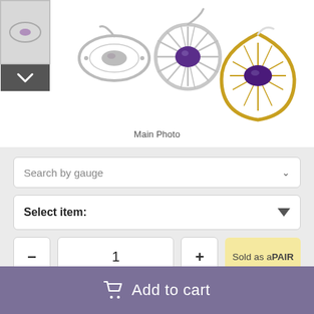[Figure (photo): Product photo showing jewelry earrings — silver spiral/wheel earrings with purple gemstone and a gold teardrop-shaped earring with purple stone, displayed on a white background. A thumbnail image appears on the left side with a navigation chevron below it.]
Main Photo
Search by gauge
Select item:
1
Sold as a PAIR
Add to cart